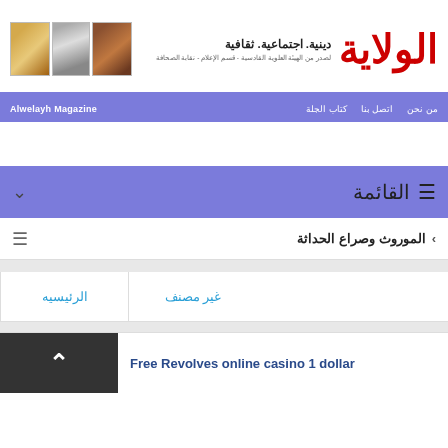[Figure (logo): Alwelayh Magazine header with Arabic logo in red, magazine cover images, Arabic tagline, and navigation bar]
Alwelayh Magazine | دينية. اجتماعية. ثقافية
القائمة
الموروث وصراع الحداثة
الرئيسيه | غير مصنف
Free Revolves online casino 1 dollar